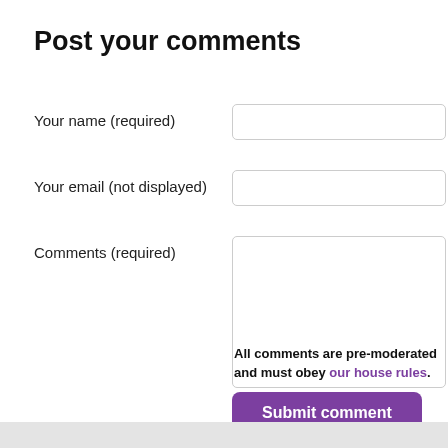Post your comments
Your name (required)
Your email (not displayed)
Comments (required)
All comments are pre-moderated and must obey our house rules.
Submit comment
Read next: Scottish Civic Trust a
Read previous: Planning sou